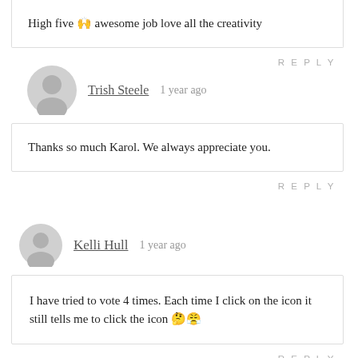High five 🙌 awesome job love all the creativity
REPLY
Trish Steele   1 year ago
Thanks so much Karol. We always appreciate you.
REPLY
Kelli Hull   1 year ago
I have tried to vote 4 times. Each time I click on the icon it still tells me to click the icon 🤔😤
REPLY